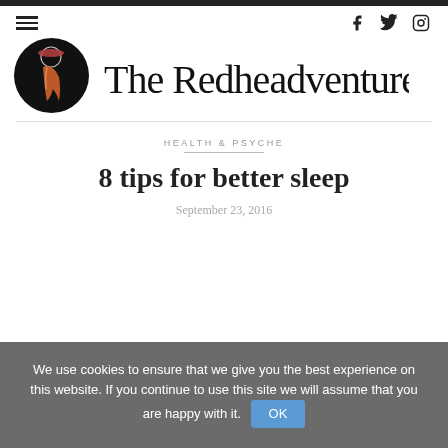The Redheadventurer — navigation bar with hamburger menu and social icons (f, twitter, instagram)
[Figure (logo): The Redheadventurer blog logo: a black circle with a stylized woman silhouette in red/orange/yellow tones, next to cursive handwritten text 'The Redheadventurer']
HEALTH & PSYCHE
8 tips for better sleep
September 23, 2016
We use cookies to ensure that we give you the best experience on this website. If you continue to use this site we will assume that you are happy with it.